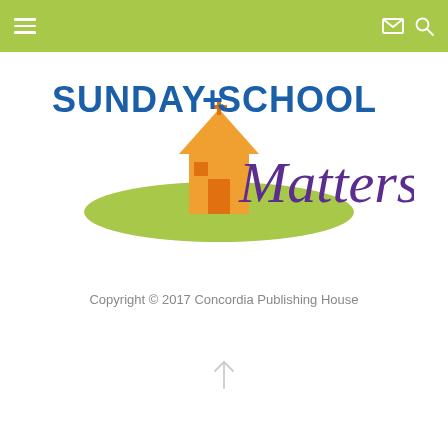Sunday School Matters – navigation bar
[Figure (logo): Sunday School Matters logo: blue bold text 'SUNDAY+SCHOOL' with an orange house/church illustration and green oval shadow, with purple italic 'Matters' text]
Copyright © 2017 Concordia Publishing House